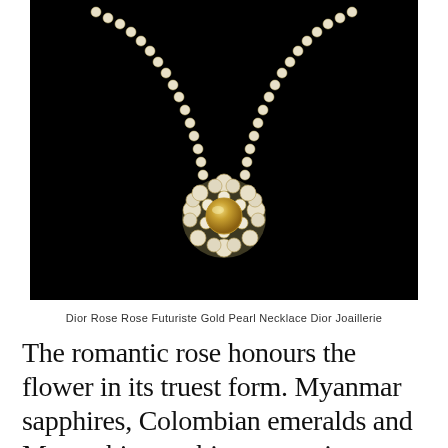[Figure (photo): A diamond and gold pearl necklace (Dior Rose Rose Futuriste Gold Pearl Necklace) photographed against a black background. The necklace features a chain of diamond-set links converging at a central floral cluster pendant with a golden pearl at its center, surrounded by diamond-encrusted petals.]
Dior Rose Rose Futuriste Gold Pearl Necklace Dior Joaillerie
The romantic rose honours the flower in its truest form. Myanmar sapphires, Colombian emeralds and Mozambique rubies are set in a